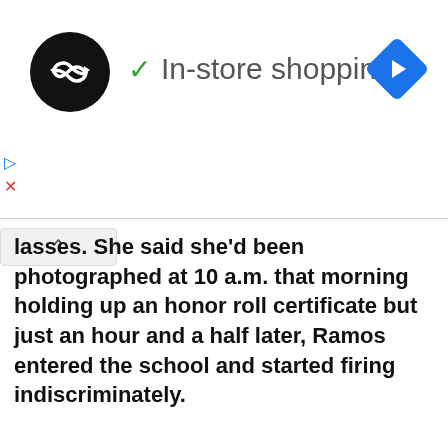[Figure (logo): Looping/infinity-style logo in white on black circle, with ad label 'In-store shopping' and a blue navigation diamond arrow icon on the right]
lasses. She said she’d been photographed at 10 a.m. that morning holding up an honor roll certificate but just an hour and a half later, Ramos entered the school and started firing indiscriminately.